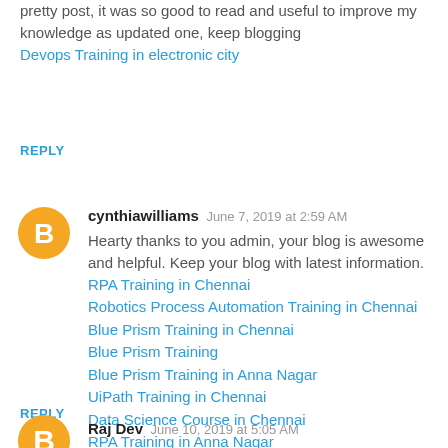pretty post, it was so good to read and useful to improve my knowledge as updated one, keep blogging
Devops Training in electronic city
REPLY
cynthiawilliams  June 7, 2019 at 2:59 AM
Hearty thanks to you admin, your blog is awesome and helpful. Keep your blog with latest information.
RPA Training in Chennai
Robotics Process Automation Training in Chennai
Blue Prism Training in Chennai
Blue Prism Training
Blue Prism Training in Anna Nagar
UiPath Training in Chennai
Data Science Course in Chennai
RPA Training in Anna Nagar
REPLY
Raj Dev  June 10, 2019 at 5:05 AM